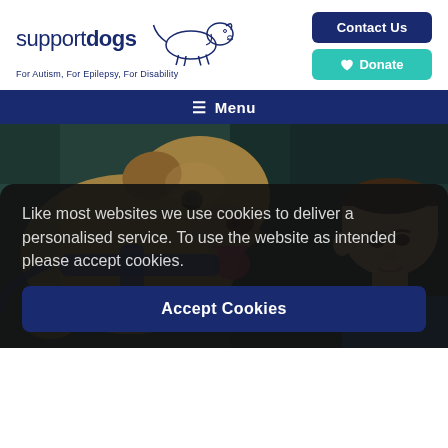[Figure (logo): Support Dogs logo with illustrated dog outline and tagline: For Autism, For Epilepsy, For Disability]
Contact Us
🐾 Donate
☰ Menu
[Figure (photo): A golden Labrador wearing a blue harness looking towards the camera, with a young boy in a blue shirt on the right side, against a dark teal background]
Like most websites we use cookies to deliver a personalised service. To use the website as intended please accept cookies.
Accept Cookies